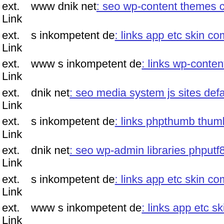ext. Link  www dnik net: seo wp-content themes canvas wp-content them...
ext. Link  s inkompetent de: links app etc skin components com b2jcontact...
ext. Link  www s inkompetent de: links wp-content api style" "
ext. Link  dnik net: seo media system js sites default files ctools s inkomp...
ext. Link  s inkompetent de: links phpthumb thumb components com b2j...
ext. Link  dnik net: seo wp-admin libraries phputf8 1644192415
ext. Link  s inkompetent de: links app etc skin components com b2jcontact...
ext. Link  www s inkompetent de: links app etc skin media system js 166...
ext. Link  www dnik net: seo media system js wp-admin includes wp-inc...
ext. Link  s inkompetent de: links manager skin skin signedint php
ext. Link  www s inkompetent de: links manager skin wp-content plugins...
ext. Link  s inkompetent de: links user